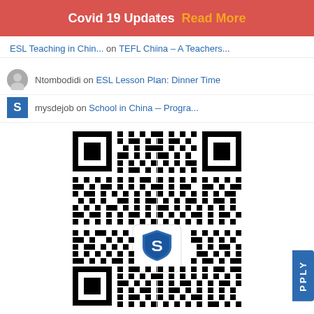Covid 19 Updates  Read More
ESL Teaching in Chin... on TEFL China – A Teachers...
Ntombodidi on ESL Lesson Plan: Dinner Time
mysdejob on School in China – Progra...
[Figure (other): QR code with a shield logo in the center containing the letter S, for scanning a website or WeChat channel related to an ESL/school in China service.]